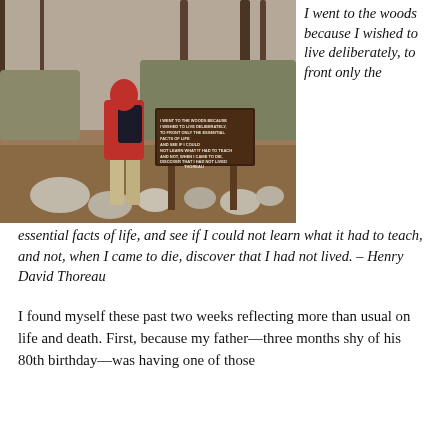[Figure (photo): Person in red hoodie with black backpack standing in front of a wooden sign in a forest. The sign reads: I WENT TO THE WOODS BECAUSE I WISHED TO LIVE DELIBERATELY, TO FRONT ONLY THE ESSENTIAL FACTS OF LIFE AND SEE IF I COULD NOT LEARN WHAT IT HAD TO TEACH AND NOT, WHEN I CAME TO DIE, DISCOVER THAT I HAD NOT LIVED - THOREAU]
I went to the woods because I wished to live deliberately, to front only the essential facts of life, and see if I could not learn what it had to teach, and not, when I came to die, discover that I had not lived. – Henry David Thoreau
I found myself these past two weeks reflecting more than usual on life and death. First, because my father—three months shy of his 80th birthday—was having one of those